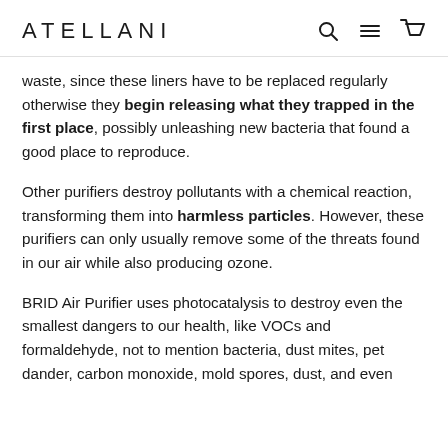ATELLANI
waste, since these liners have to be replaced regularly otherwise they begin releasing what they trapped in the first place, possibly unleashing new bacteria that found a good place to reproduce.
Other purifiers destroy pollutants with a chemical reaction, transforming them into harmless particles. However, these purifiers can only usually remove some of the threats found in our air while also producing ozone.
BRID Air Purifier uses photocatalysis to destroy even the smallest dangers to our health, like VOCs and formaldehyde, not to mention bacteria, dust mites, pet dander, carbon monoxide, mold spores, dust, and even